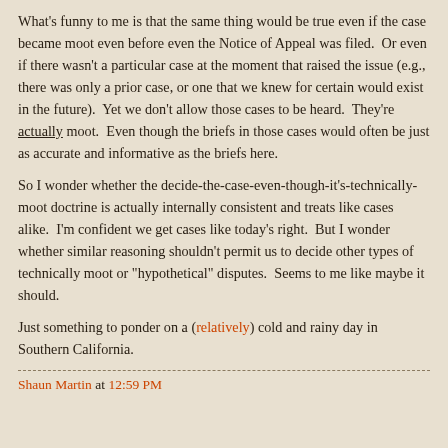What's funny to me is that the same thing would be true even if the case became moot even before even the Notice of Appeal was filed.  Or even if there wasn't a particular case at the moment that raised the issue (e.g., there was only a prior case, or one that we knew for certain would exist in the future).  Yet we don't allow those cases to be heard.  They're actually moot.  Even though the briefs in those cases would often be just as accurate and informative as the briefs here.
So I wonder whether the decide-the-case-even-though-it's-technically-moot doctrine is actually internally consistent and treats like cases alike.  I'm confident we get cases like today's right.  But I wonder whether similar reasoning shouldn't permit us to decide other types of technically moot or "hypothetical" disputes.  Seems to me like maybe it should.
Just something to ponder on a (relatively) cold and rainy day in Southern California.
Shaun Martin at 12:59 PM